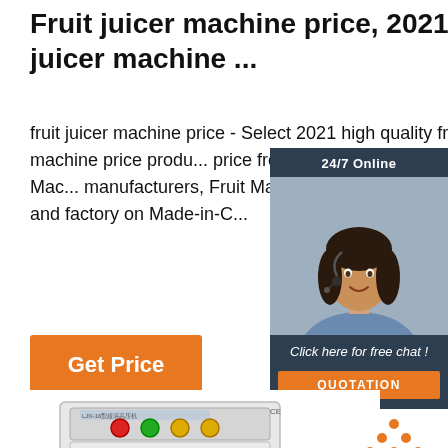Fruit juicer machine price, 2021 fruit juicer machine ...
fruit juicer machine price - Select 2021 high quality fruit juicer machine price products in best price from certified Chinese Steel Mac... manufacturers, Fruit Machine suppliers, wholesalers and factory on Made-in-C...
[Figure (infographic): 24/7 online chat widget with a female customer service representative wearing a headset, dark navy background, 'Click here for free chat!' text, orange QUOTATION button]
Get Price
[Figure (photo): Fruit juicer machine product photo - white rectangular machine with colored control buttons (red, green, yellow) on top, on a rack/stand]
[Figure (logo): TOP badge with orange dots arranged in triangle and red TOP text]